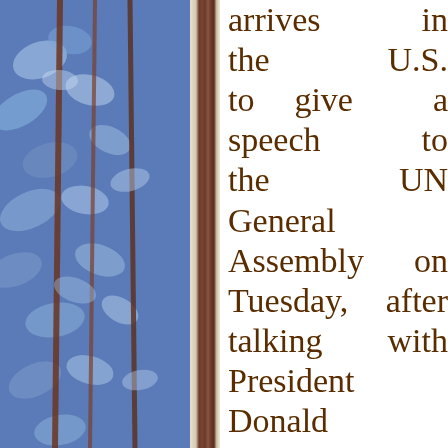[Figure (photo): Left half of page shows a decorative blue floral/leaf patterned fabric or wallpaper with brown vertical stems/branches, with a dark brown book spine visible at the right edge of the image section.]
arrives in the U.S. to give a speech to the UN General Assembly on Tuesday, after talking with President Donald Trump on Monday,